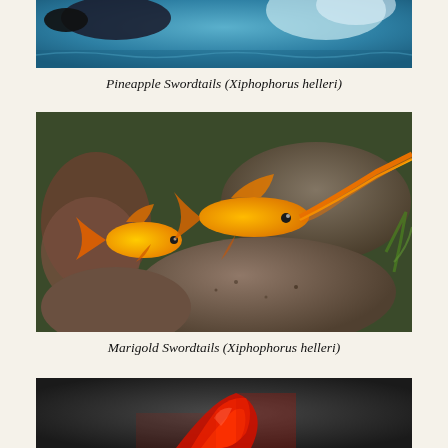[Figure (photo): Partial view of Pineapple Swordtails fish in an aquarium with blue/teal water background, partially cropped at top of page]
Pineapple Swordtails (Xiphophorus helleri)
[Figure (photo): Two orange/marigold swordtail fish (Xiphophorus helleri) swimming near rocks in an aquarium. One fish has a prominent elongated sword tail. Background shows stones and aquatic plants.]
Marigold Swordtails (Xiphophorus helleri)
[Figure (photo): Partial view of a red swordtail fish with vivid red fins against a dark grey background, cropped at bottom of page]